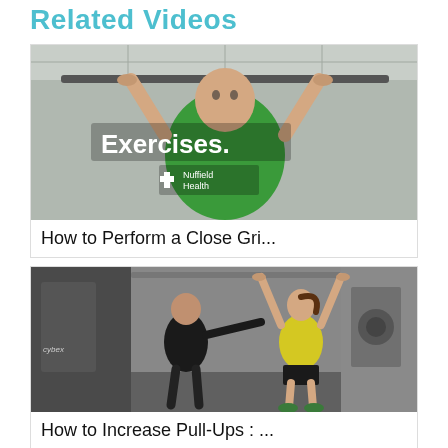Related Videos
[Figure (photo): Person doing a close grip pull-up on a bar, wearing a green Nuffield Health shirt, with 'Exercises.' text overlay in white]
How to Perform a Close Gri...
[Figure (photo): Woman doing pull-ups in a gym wearing a yellow top and black shorts, with a trainer observing, gym equipment visible in background]
How to Increase Pull-Ups : ...